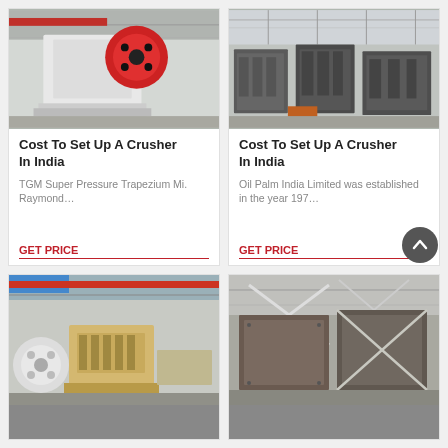[Figure (photo): Industrial jaw crusher machine in a factory, white frame with red flywheel]
Cost To Set Up A Crusher In India
TGM Super Pressure Trapezium Mi. Raymond…
GET PRICE
[Figure (photo): Multiple crusher machine frames/bases lined up in an industrial factory floor]
Cost To Set Up A Crusher In India
Oil Palm India Limited was established in the year 197…
GET PRICE
[Figure (photo): Industrial crusher machine (tan/beige colored) with red crane overhead in factory]
[Figure (photo): Industrial metal machinery or container structure inside a factory]